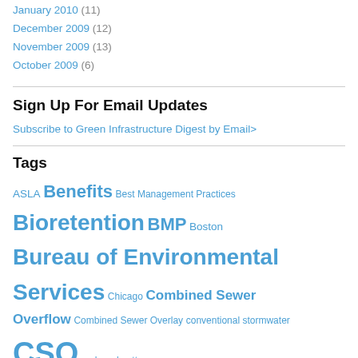January 2010 (11)
December 2009 (12)
November 2009 (13)
October 2009 (6)
Sign Up For Email Updates
Subscribe to Green Infrastructure Digest by Email>
Tags
ASLA Benefits Best Management Practices Bioretention BMP Boston Bureau of Environmental Services Chicago Combined Sewer Overflow Combined Sewer Overlay conventional stormwater CSO curb and gutter Deaderick Street economics educational awareness energy costs EPA funding green infrastructure green